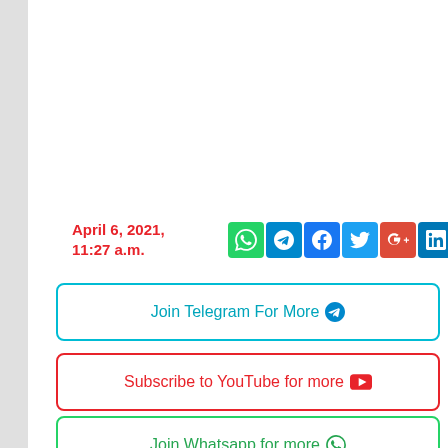April 6, 2021, 11:27 a.m.
[Figure (infographic): Social media share buttons: WhatsApp, Telegram, Facebook, Twitter, Google+, LinkedIn, Reddit, Pinterest Save]
Join Telegram For More
Subscribe to YouTube for more
Join Whatsapp for more